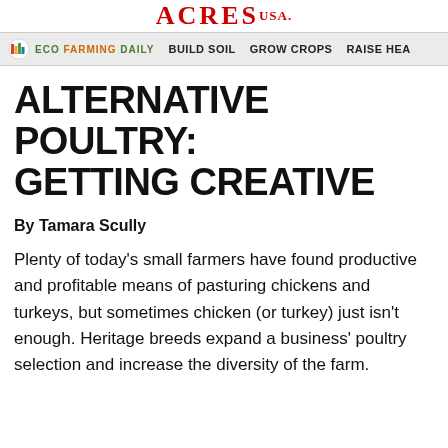ACRES USA.
ECO FARMING DAILY   BUILD SOIL   GROW CROPS   RAISE HEA
ALTERNATIVE POULTRY: GETTING CREATIVE
By Tamara Scully
Plenty of today's small farmers have found productive and profitable means of pasturing chickens and turkeys, but sometimes chicken (or turkey) just isn't enough. Heritage breeds expand a business' poultry selection and increase the diversity of the farm.